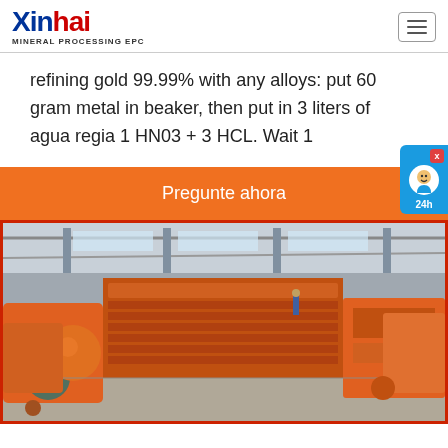[Figure (logo): Xinhai Mineral Processing EPC logo with blue and red text]
refining gold 99.99% with any alloys: put 60 gram metal in beaker, then put in 3 liters of agua regia 1 HN03 + 3 HCL. Wait 1
Pregunte ahora
[Figure (photo): Industrial facility interior showing orange mining/mineral processing machinery and equipment on a factory floor with metal roof structure]